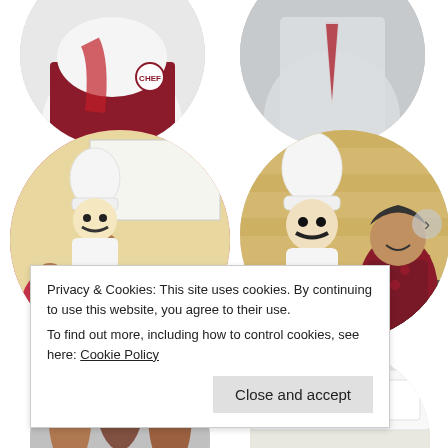[Figure (photo): Circular photo (top-left, partially cropped): person wearing white chef uniform with red accent/tie and burgundy polo shirt with logo, shown from chest down]
[Figure (photo): Circular photo (top-right, partially cropped): person in white chef uniform with red tie, shown from torso up against neutral background]
[Figure (photo): Circular photo (middle-left): chef mascot character in white hat and red scarf/neckerchief interacting with children wearing red/pink shirts that say 'ROSE' at a classroom or event setting; child reaching up hand]
[Figure (photo): Circular photo (middle-right): chef mascot character in white uniform and chef hat with red scarf standing next to smiling woman in dark floral dress and burgundy cardigan, against yellow brick wall background]
[Figure (photo): Circular photo (bottom-left, partially cropped): group of people, partially visible]
[Figure (photo): Circular photo (bottom-right, partially cropped): white surface/tray visible, partially cropped]
Privacy & Cookies: This site uses cookies. By continuing to use this website, you agree to their use.
To find out more, including how to control cookies, see here: Cookie Policy
Close and accept